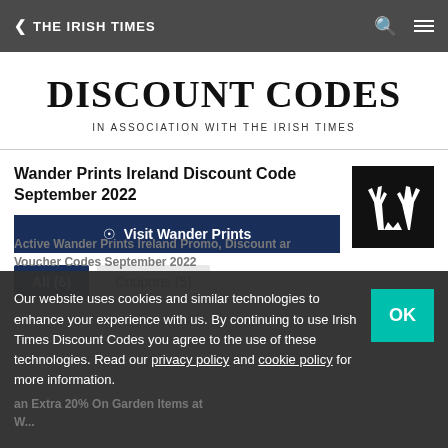< THE IRISH TIMES
DISCOUNT CODES
IN ASSOCIATION WITH THE IRISH TIMES
Wander Prints Ireland Discount Code September 2022
Visit Wander Prints
All (6)   Coupons (5)
Our website uses cookies and similar technologies to enhance your experience with us. By continuing to use Irish Times Discount Codes you agree to the use of these technologies. Read our privacy policy and cookie policy for more information.